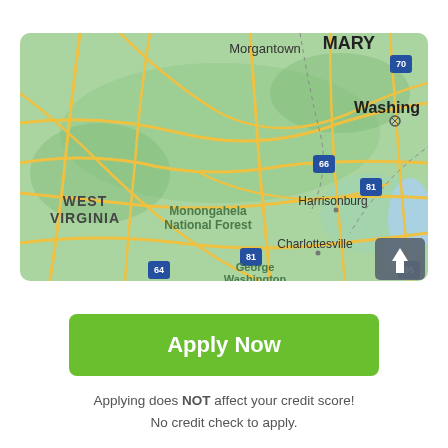[Figure (map): Road map showing West Virginia, Virginia, and parts of Maryland including locations: Morgantown, West Virginia, Monongahela National Forest, Harrisonburg, Charlottesville, George Washington (National Forest), Washington DC, MARY (Maryland), and interstate shields 64, 66, 70, 81, 95. An upload/share arrow button is visible in the bottom-right corner of the map.]
Apply Now
Applying does NOT affect your credit score!
No credit check to apply.